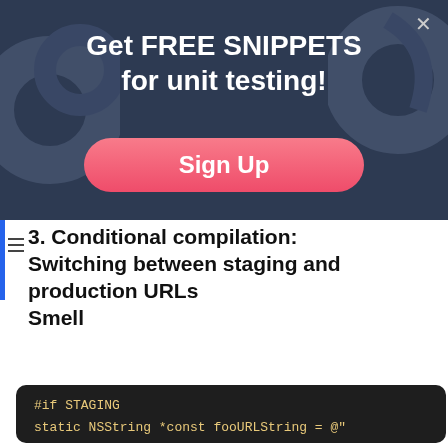[Figure (screenshot): Banner with dark blue background, decorative swirl graphics on left and right, close button (×) in top-right corner]
Get FREE SNIPPETS for unit testing!
Sign Up
3. Conditional compilation: Switching between staging and production URLs Smell
#if STAGING
static NSString *const fooURLString = @"
#else
static NSString *const fooURLString = @"
#endif